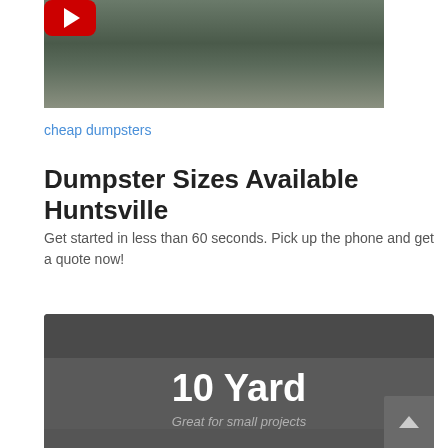[Figure (screenshot): YouTube video thumbnail showing garbage/dump trucks with a red YouTube play button overlay]
cheap dumpsters
Dumpster Sizes Available Huntsville
Get started in less than 60 seconds. Pick up the phone and get a quote now!
[Figure (infographic): Dark grey card with header bar and '10 Yard' title text with subtitle 'Great for small projects']